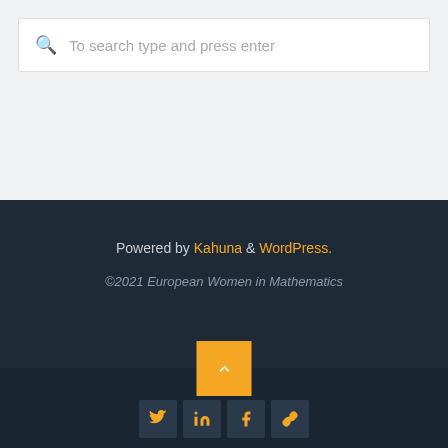To search type and press enter
Powered by Kahuna & WordPress.
©2021 European Women in Mathematics